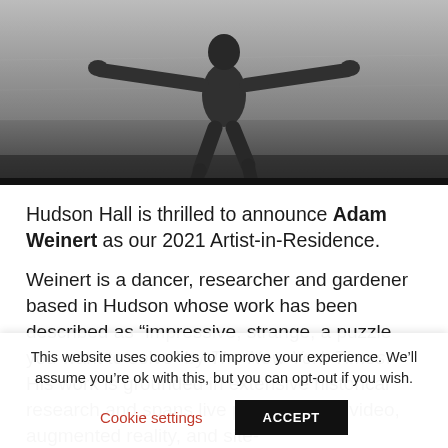[Figure (photo): Black and white photograph of a person (dancer) with arms outstretched, jumping or leaping, with a dark textured background]
Hudson Hall is thrilled to announce Adam Weinert as our 2021 Artist-in-Residence.
Weinert is a dancer, researcher and gardener based in Hudson whose work has been described as “impressive, strange, a puzzle you want to solve” by The New York Times.  His work is grounded in extensive historical research and spans live performance, video, augmented reality, and site-
This website uses cookies to improve your experience. We’ll assume you’re ok with this, but you can opt-out if you wish.
Cookie settings
ACCEPT